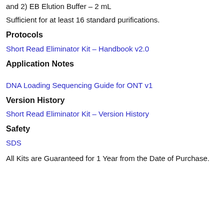and 2) EB Elution Buffer – 2 mL
Sufficient for at least 16 standard purifications.
Protocols
Short Read Eliminator Kit – Handbook v2.0
Application Notes
DNA Loading Sequencing Guide for ONT v1
Version History
Short Read Eliminator Kit – Version History
Safety
SDS
All Kits are Guaranteed for 1 Year from the Date of Purchase.